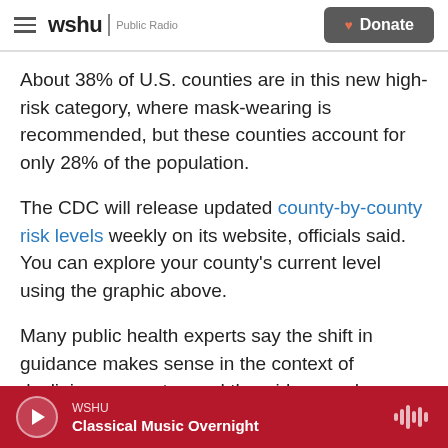wshu | Public Radio — Donate
About 38% of U.S. counties are in this new high-risk category, where mask-wearing is recommended, but these counties account for only 28% of the population.
The CDC will release updated county-by-county risk levels weekly on its website, officials said. You can explore your county's current level using the graphic above.
Many public health experts say the shift in guidance makes sense in the context of declining case rates and the widespread availability of
WSHU — Classical Music Overnight